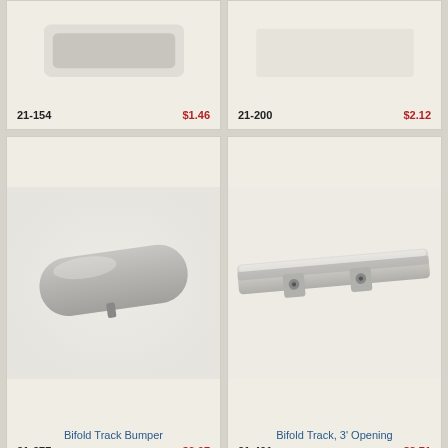[Figure (photo): Pivot Rod Clamp hardware component (partially visible, cut off)]
21-154
$1.46
[Figure (photo): Pivot bracket hardware component (partially visible, cut off)]
21-200
$2.12
[Figure (photo): Bifold Track Bumper - gray plastic cylindrical bumper with slot]
Bifold Track Bumper
21-277
$2.07
[Figure (photo): Bifold Track, 3' Opening - metal track component with mounting hardware]
Bifold Track, 3' Opening
21-401
$8.71
[Figure (photo): Partial view of another bifold track component at bottom left]
[Figure (photo): Partial view of another bifold track component at bottom right]